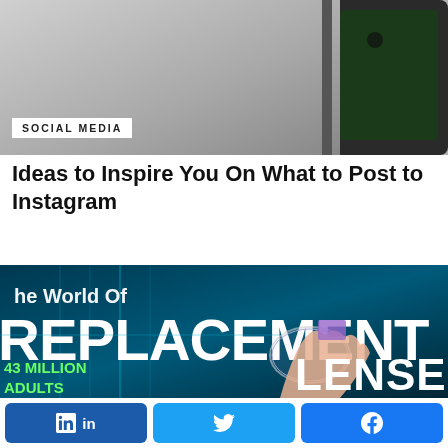[Figure (photo): Close-up photo of a smartphone on a textured grey background with SOCIAL MEDIA badge overlay]
SOCIAL MEDIA
Ideas to Inspire You On What to Post to Instagram
[Figure (infographic): Infographic about The World Of Replacement Lenses — 143 Million Adults text visible, hand holding a lens on dark teal background]
[Figure (other): Share bar with LinkedIn, Twitter/X, and Facebook buttons]